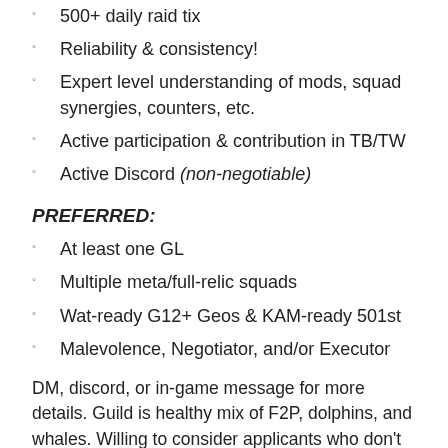500+ daily raid tix
Reliability & consistency!
Expert level understanding of mods, squad synergies, counters, etc.
Active participation & contribution in TB/TW
Active Discord (non-negotiable)
PREFERRED:
At least one GL
Multiple meta/full-relic squads
Wat-ready G12+ Geos & KAM-ready 501st
Malevolence, Negotiator, and/or Executor
DM, discord, or in-game message for more details. Guild is healthy mix of F2P, dolphins, and whales. Willing to consider applicants who don't meet all requirements if made up for in other areas (specifically those with fast, lean & efficient rosters – if your mods are subpar, you unfortunately are too.. Reliability, knowledge, active participation are most crucial